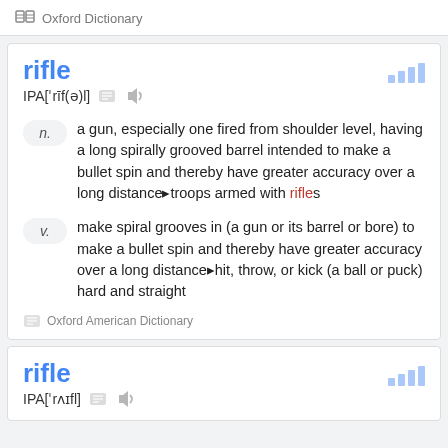Oxford Dictionary
rifle
IPA[ˈrīf(ə)l]
n. a gun, especially one fired from shoulder level, having a long spirally grooved barrel intended to make a bullet spin and thereby have greater accuracy over a long distance▸troops armed with rifles
v. make spiral grooves in (a gun or its barrel or bore) to make a bullet spin and thereby have greater accuracy over a long distance▸hit, throw, or kick (a ball or puck) hard and straight
Oxford American Dictionary
rifle
IPA[ˈrʌɪfl]